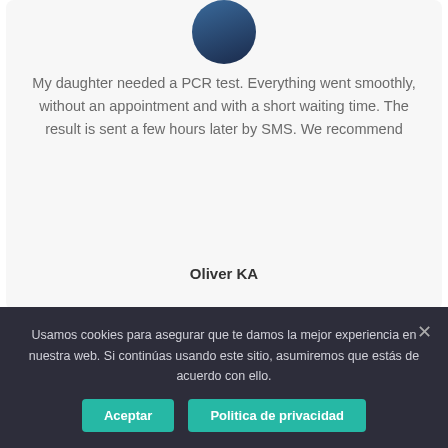[Figure (photo): Circular avatar photo of a person with dark background (partially visible at top)]
My daughter needed a PCR test. Everything went smoothly, without an appointment and with a short waiting time. The result is sent a few hours later by SMS. We recommend
Oliver KA
[Figure (illustration): Circular purple avatar with a unicorn/pegasus illustration with wings and stars]
Usamos cookies para asegurar que te damos la mejor experiencia en nuestra web. Si continúas usando este sitio, asumiremos que estás de acuerdo con ello.
Aceptar
Politica de privacidad